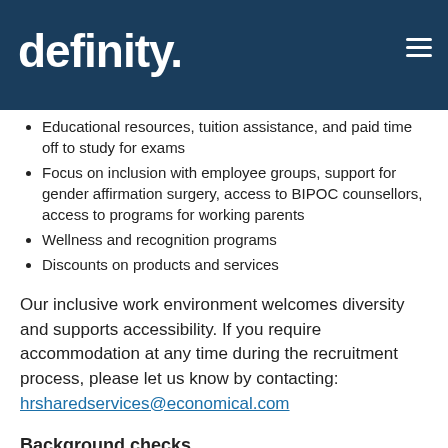definity.
Paid volunteer days and company matching on charitable contributions
Educational resources, tuition assistance, and paid time off to study for exams
Focus on inclusion with employee groups, support for gender affirmation surgery, access to BIPOC counsellors, access to programs for working parents
Wellness and recognition programs
Discounts on products and services
Our inclusive work environment welcomes diversity and supports accessibility. If you require accommodation at any time during the recruitment process, please let us know by contacting: hrsharedservices@economical.com
Background checks
This role requires successful clearance of a background check (including criminal checks